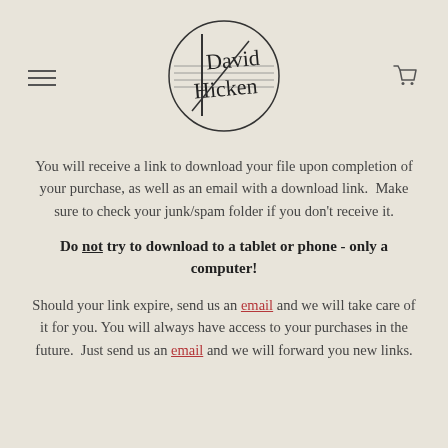[Figure (logo): David Hicken handwritten signature logo inside a circle with musical staff lines]
You will receive a link to download your file upon completion of your purchase, as well as an email with a download link.  Make sure to check your junk/spam folder if you don't receive it.
Do not try to download to a tablet or phone - only a computer!
Should your link expire, send us an email and we will take care of it for you. You will always have access to your purchases in the future.  Just send us an email and we will forward you new links.